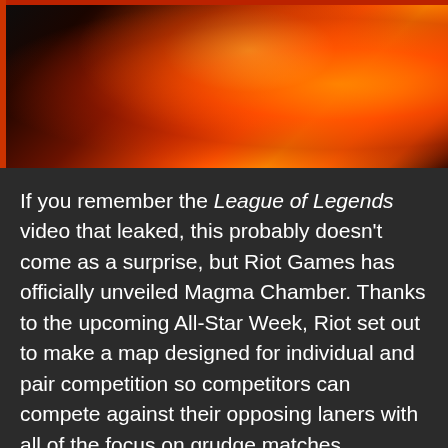[Figure (photo): Dark image with orange and red flames or fire effect, dark background on the left side with bright orange-red fire/flame on the right side]
If you remember the League of Legends video that leaked, this probably doesn't come as a surprise, but Riot Games has officially unveiled Magma Chamber. Thanks to the upcoming All-Star Week, Riot set out to make a map designed for individual and pair competition so competitors can compete against their opposing laners with all of the focus on grudge matches.
Apparently the rules are being changed by quite a bit for the All-Star week as players can win in one of three ways.